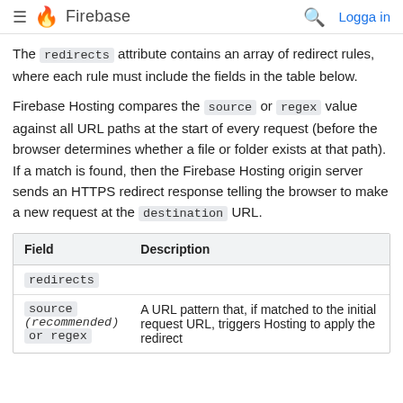Firebase — Logga in
The redirects attribute contains an array of redirect rules, where each rule must include the fields in the table below.
Firebase Hosting compares the source or regex value against all URL paths at the start of every request (before the browser determines whether a file or folder exists at that path). If a match is found, then the Firebase Hosting origin server sends an HTTPS redirect response telling the browser to make a new request at the destination URL.
| Field | Description |
| --- | --- |
| redirects |  |
| source (recommended) or regex | A URL pattern that, if matched to the initial request URL, triggers Hosting to apply the redirect |